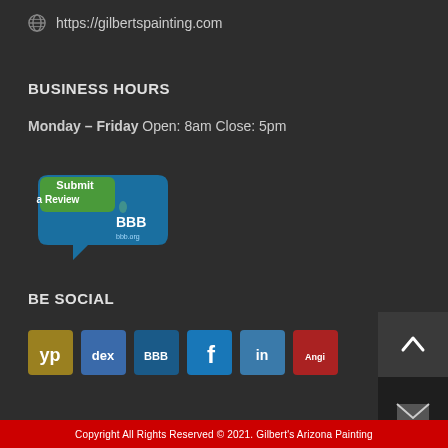https://gilbertspainting.com
BUSINESS HOURS
Monday – Friday  Open: 8am Close: 5pm
[Figure (logo): BBB Submit a Review badge with green speech bubble and blue BBB logo]
BE SOCIAL
[Figure (logo): Row of social media icons: YP (yellow pages), dex, BBB, Facebook, LinkedIn, and Angie's List]
Copyright All Rights Reserved © 2021. Gilbert's Arizona Painting